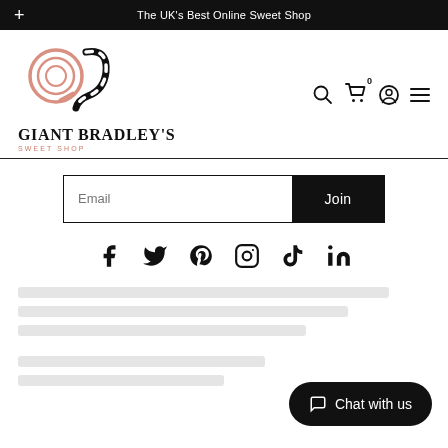The UK's Best Online Sweet Shop
[Figure (logo): Giant Bradley's Sweet Shop logo with lollipop and candy cane graphic]
Email
Join
[Figure (infographic): Social media icons row: Facebook, Twitter, Pinterest, Instagram, TikTok, LinkedIn]
Chat with us